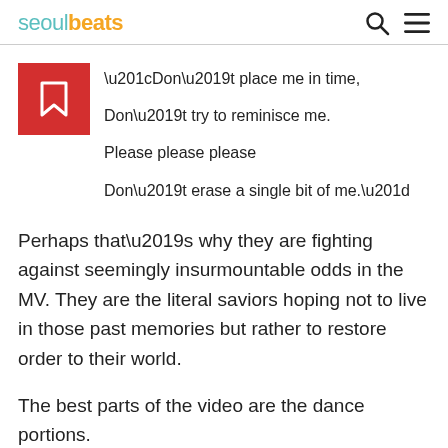seoulbeats
“Don’t place me in time,

Don’t try to reminisce me.

Please please please

Don’t erase a single bit of me.”
Perhaps that’s why they are fighting against seemingly insurmountable odds in the MV. They are the literal saviors hoping not to live in those past memories but rather to restore order to their world.
The best parts of the video are the dance portions.